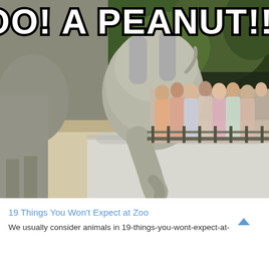[Figure (photo): A baby elephant diving head-first over a concrete barrier at a zoo, with its rear end raised in the air. Text overlay reads 'OO! A PEANUT!!!' in large Impact font. An adult elephant is visible on the left, and a crowd of zoo visitors watches from behind a fence on the right.]
19 Things You Won't Expect at Zoo
We usually consider animals in 19-things-you-wont-expect-at-